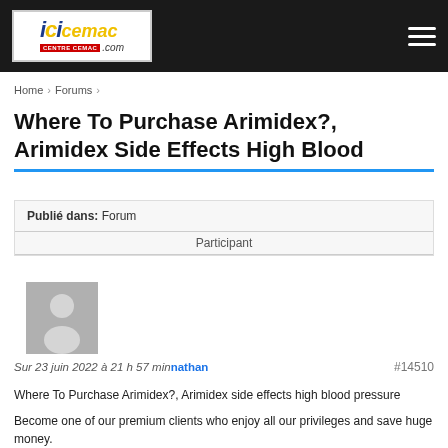ici cemac .com
Home > Forums >
Where To Purchase Arimidex?, Arimidex Side Effects High Blood
Publié dans: Forum
Participant
[Figure (illustration): Default user avatar placeholder — grey silhouette of a person on grey background]
Sur 23 juin 2022 à 21 h 57 min nathan #14510
Where To Purchase Arimidex?, Arimidex side effects high blood pressure

Become one of our premium clients who enjoy all our privileges and save huge money.